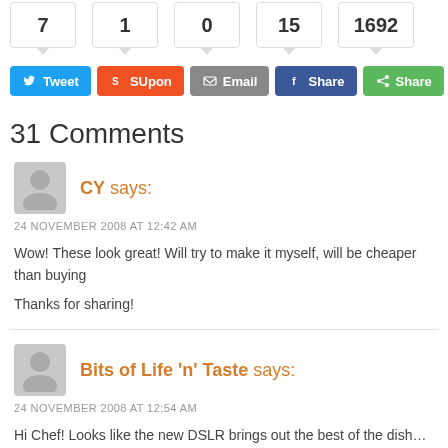7  1  0  15  1692
Tweet  SUpon  Email  Share  Share
31 Comments
CY says:
24 NOVEMBER 2008 AT 12:42 AM
Wow! These look great! Will try to make it myself, will be cheaper than buying
Thanks for sharing!
Bits of Life 'n' Taste says:
24 NOVEMBER 2008 AT 12:54 AM
Hi Chef! Looks like the new DSLR brings out the best of the dish… rite? Keep